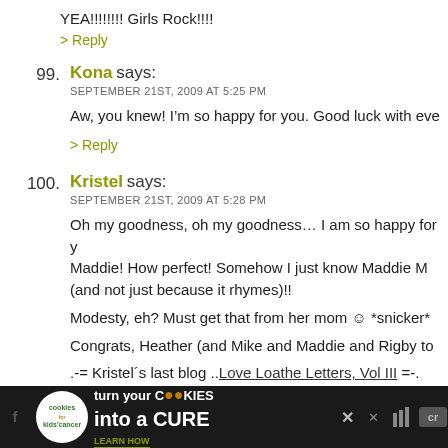YEA!!!!!!!! Girls Rock!!!!
> Reply
99. Kona says: SEPTEMBER 21ST, 2009 AT 5:25 PM — Aw, you knew! I'm so happy for you. Good luck with eve
> Reply
100. Kristel says: SEPTEMBER 21ST, 2009 AT 5:28 PM — Oh my goodness, oh my goodness... I am so happy for y Maddie! How perfect! Somehow I just know Maddie M (and not just because it rhymes)!! Modesty, eh? Must get that from her mom ☺ *snicker* Congrats, Heather (and Mike and Maddie and Rigby to .-= Kristel's last blog ..Love Loathe Letters, Vol III =-.
> Reply
[Figure (infographic): Advertisement banner for 'Cookies for Kids Cancer' — dark background with white cookie logo circle, green text 'turn your COOKIES into a CURE LEARN HOW', with close button and social icons]